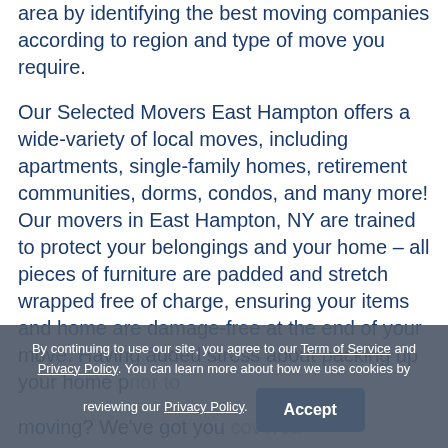area by identifying the best moving companies according to region and type of move you require.
Our Selected Movers East Hampton offers a wide-variety of local moves, including apartments, single-family homes, retirement communities, dorms, condos, and many more! Our movers in East Hampton, NY are trained to protect your belongings and your home – all pieces of furniture are padded and stretch wrapped free of charge, ensuring your items and home are damage-free at the end of your move. Having added stress about packing up your home prior to moving? We've got you covered with our full-service packing and
By continuing to use our site, you agree to our Term of Service and Privacy Policy. You can learn more about how we use cookies by reviewing our Privacy Policy.